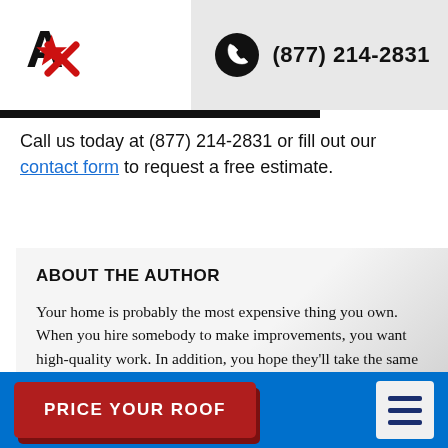[Figure (logo): Red star/arrow logo with letter A]
(877) 214-2831
Call us today at (877) 214-2831 or fill out our contact form to request a free estimate.
ABOUT THE AUTHOR
Your home is probably the most expensive thing you own. When you hire somebody to make improvements, you want high-quality work. In addition, you hope they'll take the same care you would. You want someone with a good reputation, legitimate credentials, well established, using quality materials, and who charges a fair price. For over 11 years, I have
PRICE YOUR ROOF